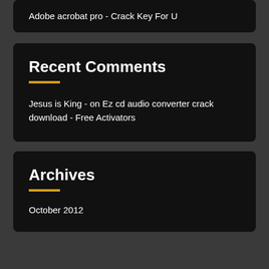Adobe acrobat pro - Crack Key For U
Recent Comments
Jesus is King - on Ez cd audio converter crack download - Free Activators
Archives
October 2012